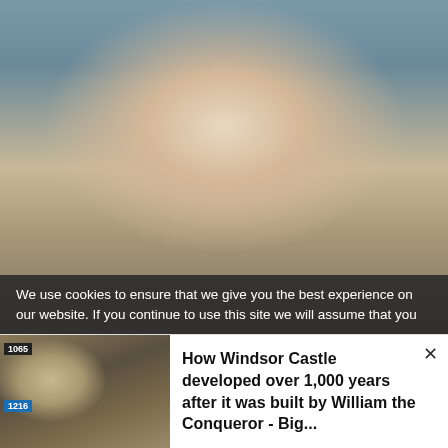[Figure (photo): A blonde woman in a gold sequined dress holding up a champagne flute with a pink/rose drink, smiling, standing near a pool area outdoors at night.]
We use cookies to ensure that we give you the best experience on our website. If you continue to use this site we will assume that you
[Figure (photo): Aerial view of Windsor Castle showing the castle grounds and surrounding area.]
How Windsor Castle developed over 1,000 years after it was built by William the Conqueror - Big...